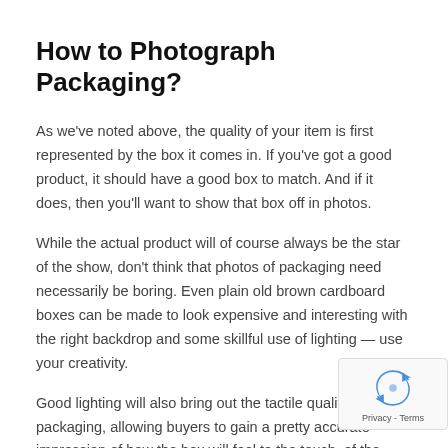How to Photograph Packaging?
As we've noted above, the quality of your item is first represented by the box it comes in. If you've got a good product, it should have a good box to match. And if it does, then you'll want to show that box off in photos.
While the actual product will of course always be the star of the show, don't think that photos of packaging need necessarily be boring. Even plain old brown cardboard boxes can be made to look expensive and interesting with the right backdrop and some skillful use of lighting — use your creativity.
Good lighting will also bring out the tactile qualities of your packaging, allowing buyers to gain a pretty accurate impression of how the box will feel to the touch, of the contrast between smooth and matte areas, or the relie…